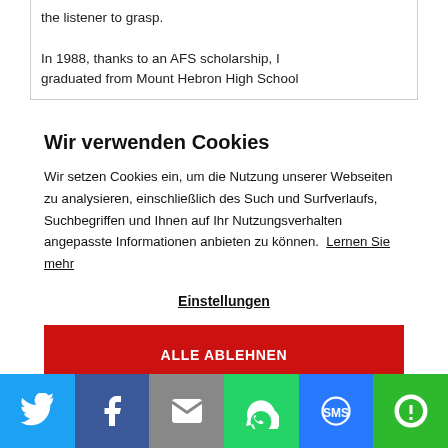the listener to grasp.
In 1988, thanks to an AFS scholarship, I graduated from Mount Hebron High School
Wir verwenden Cookies
Wir setzen Cookies ein, um die Nutzung unserer Webseiten zu analysieren, einschließlich des Such und Surfverlaufs, Suchbegriffen und Ihnen auf Ihr Nutzungsverhalten angepasste Informationen anbieten zu können.  Lernen Sie mehr
Einstellungen
ALLE ABLEHNEN
[Figure (infographic): Social share bar with Twitter, Facebook, Email, WhatsApp, SMS, and More icons in colored boxes at the bottom of the page]